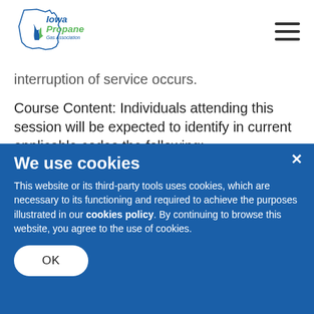Iowa Propane Gas Association
interruption of service occurs.
Course Content: Individuals attending this session will be expected to identify in current applicable codes the following:
We use cookies
This website or its third-party tools uses cookies, which are necessary to its functioning and required to achieve the purposes illustrated in our cookies policy. By continuing to browse this website, you agree to the use of cookies.
OK